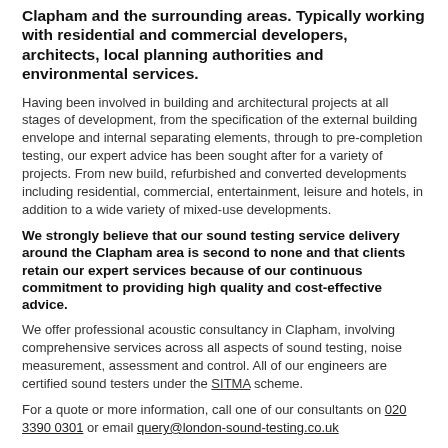Clapham and the surrounding areas. Typically working with residential and commercial developers, architects, local planning authorities and environmental services.
Having been involved in building and architectural projects at all stages of development, from the specification of the external building envelope and internal separating elements, through to pre-completion testing, our expert advice has been sought after for a variety of projects. From new build, refurbished and converted developments including residential, commercial, entertainment, leisure and hotels, in addition to a wide variety of mixed-use developments.
We strongly believe that our sound testing service delivery around the Clapham area is second to none and that clients retain our expert services because of our continuous commitment to providing high quality and cost-effective advice.
We offer professional acoustic consultancy in Clapham, involving comprehensive services across all aspects of sound testing, noise measurement, assessment and control. All of our engineers are certified sound testers under the SITMA scheme.
For a quote or more information, call one of our consultants on 020 3390 0301 or email query@london-sound-testing.co.uk
We actively encourage our Clapham clients to seek our services at the earliest opportunity so sound testing and the integration of any acoustic issues can feature into the overall design of a development; removing the need for costly revisions.
Building Regulations